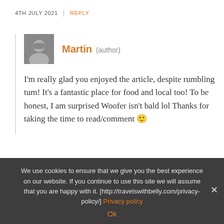4TH JULY 2021  |  REPLY
Martin (author)
I'm really glad you enjoyed the article, despite rumbling tum! It's a fantastic place for food and local too! To be honest, I am surprised Woofer isn't bald lol Thanks for taking the time to read/comment 🙂
4TH JULY 2021  |  REPLY
We use cookies to ensure that we give you the best experience on our website. If you continue to use this site we will assume that you are happy with it. [http://travelswithbelly.com/privacy-policy/] Privacy policy
Ok